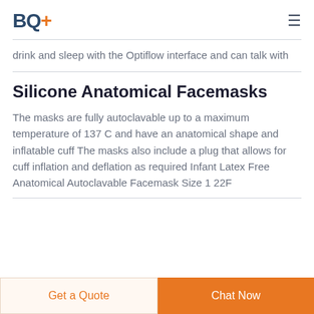BQ+
drink and sleep with the Optiflow interface and can talk with
Silicone Anatomical Facemasks
The masks are fully autoclavable up to a maximum temperature of 137 C and have an anatomical shape and inflatable cuff The masks also include a plug that allows for cuff inflation and deflation as required Infant Latex Free Anatomical Autoclavable Facemask Size 1 22F
Get a Quote | Chat Now